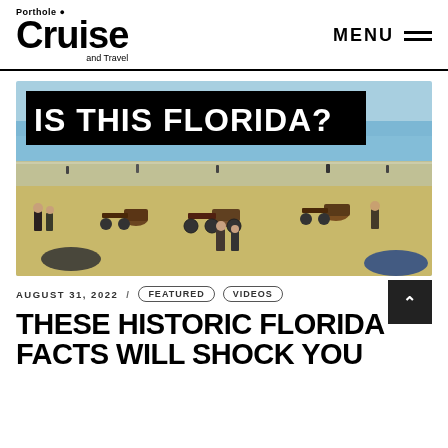Porthole Cruise and Travel — MENU
[Figure (photo): Historic colorized beach scene with horses, carriages, and people in old-fashioned dress on a sandy beach with ocean in background. Overlay text reads 'IS THIS FLORIDA?']
AUGUST 31, 2022 / FEATURED VIDEOS
THESE HISTORIC FLORIDA FACTS WILL SHOCK YOU